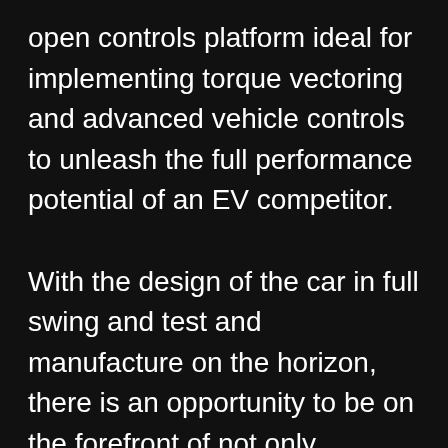open controls platform ideal for implementing torque vectoring and advanced vehicle controls to unleash the full performance potential of an EV competitor.

With the design of the car in full swing and test and manufacture on the horizon, there is an opportunity to be on the forefront of not only performance, but also the industry by gaining both the